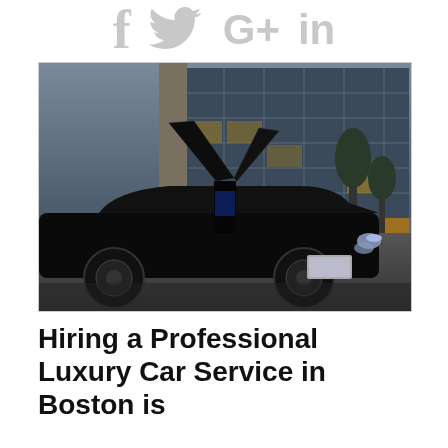Social media icons: Facebook, Twitter, Google+, LinkedIn
[Figure (photo): A black stretch limousine (Chrysler 300) with butterfly/gull-wing doors open, parked in front of a modern glass office building at dusk/night with warm interior lighting.]
Hiring a Professional Luxury Car Service in Boston is